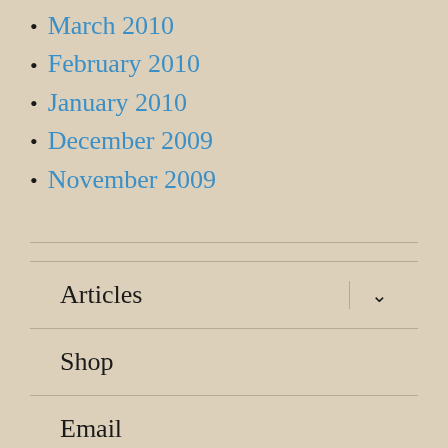March 2010
February 2010
January 2010
December 2009
November 2009
Articles
Shop
Email
About